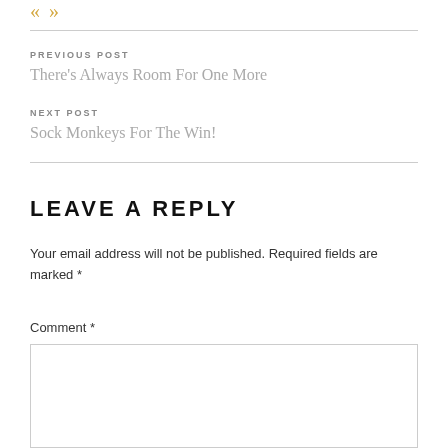« »
PREVIOUS POST
There's Always Room For One More
NEXT POST
Sock Monkeys For The Win!
LEAVE A REPLY
Your email address will not be published. Required fields are marked *
Comment *